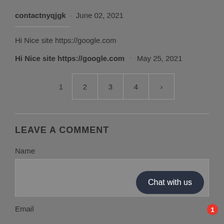contactnyqjgk · June 02, 2021
Hi Nice site https://google.com
Hi Nice site https://google.com · May 25, 2021
1  2  3  4  >
LEAVE A COMMENT
Name
Email